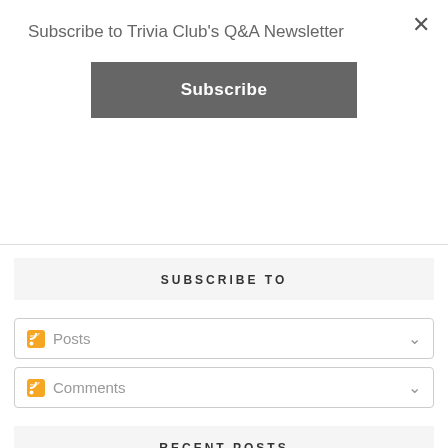Subscribe to Trivia Club's Q&A Newsletter
Subscribe
SUBSCRIBE TO
Posts
Comments
RECENT POSTS
[Figure (photo): Thumbnail image for CEBL 2022 Sartorial Rankings post showing a man in a suit surrounded by colorful sunburst and basketball team logos]
CEBL 2022 Sartorial Rankings - Picking a Favourite, Based on